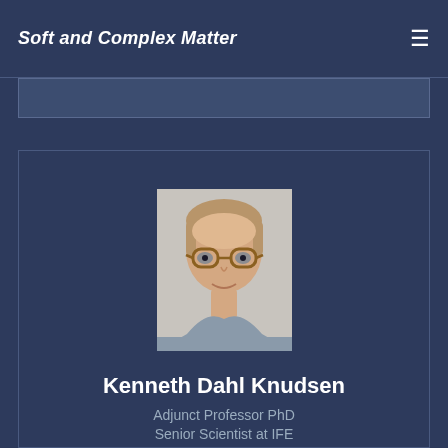Soft and Complex Matter
[Figure (photo): Portrait photo of Kenneth Dahl Knudsen, a middle-aged man with light brown hair, glasses with amber frames, wearing a grey shirt, photographed against a light grey background]
Kenneth Dahl Knudsen
Adjunct Professor PhD
Senior Scientist at IFE
[Figure (illustration): White envelope email icon]